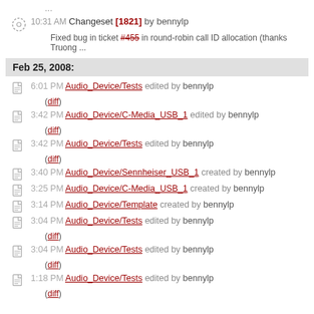...
10:31 AM Changeset [1821] by bennylp — Fixed bug in ticket #455 in round-robin call ID allocation (thanks Truong ...
Feb 25, 2008:
6:01 PM Audio_Device/Tests edited by bennylp (diff)
3:42 PM Audio_Device/C-Media_USB_1 edited by bennylp (diff)
3:42 PM Audio_Device/Tests edited by bennylp (diff)
3:40 PM Audio_Device/Sennheiser_USB_1 created by bennylp
3:25 PM Audio_Device/C-Media_USB_1 created by bennylp
3:14 PM Audio_Device/Template created by bennylp
3:04 PM Audio_Device/Tests edited by bennylp (diff)
3:04 PM Audio_Device/Tests edited by bennylp (diff)
1:18 PM Audio_Device/Tests edited by bennylp (diff)